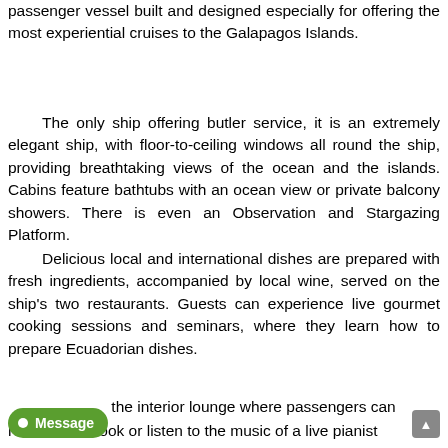passenger vessel built and designed especially for offering the most experiential cruises to the Galapagos Islands.
The only ship offering butler service, it is an extremely elegant ship, with floor-to-ceiling windows all round the ship, providing breathtaking views of the ocean and the islands. Cabins feature bathtubs with an ocean view or private balcony showers. There is even an Observation and Stargazing Platform.
Delicious local and international dishes are prepared with fresh ingredients, accompanied by local wine, served on the ship's two restaurants. Guests can experience live gourmet cooking sessions and seminars, where they learn how to prepare Ecuadorian dishes.
the interior lounge where passengers can relax with a book or listen to the music of a live pianist